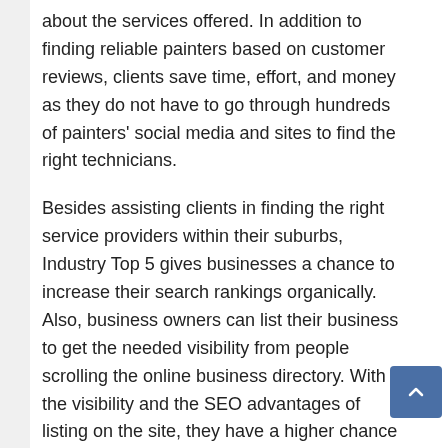about the services offered. In addition to finding reliable painters based on customer reviews, clients save time, effort, and money as they do not have to go through hundreds of painters' social media and sites to find the right technicians.
Besides assisting clients in finding the right service providers within their suburbs, Industry Top 5 gives businesses a chance to increase their search rankings organically. Also, business owners can list their business to get the needed visibility from people scrolling the online business directory. With the visibility and the SEO advantages of listing on the site, they have a higher chance of getting more calls from potential customers.